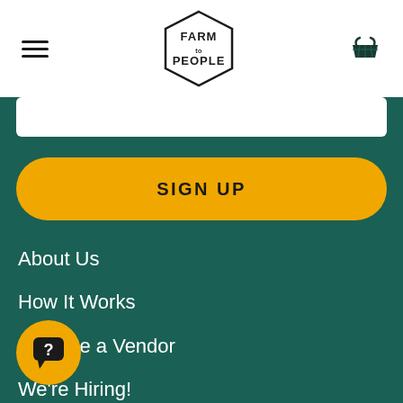Farm to People – navigation header with hamburger menu and basket icon
[Figure (logo): Farm to People hexagon logo in the center of the top navigation bar]
SIGN UP
About Us
How It Works
Become a Vendor
We're Hiring!
Contact
[Figure (illustration): Yellow circular help/chat bubble icon with question mark]